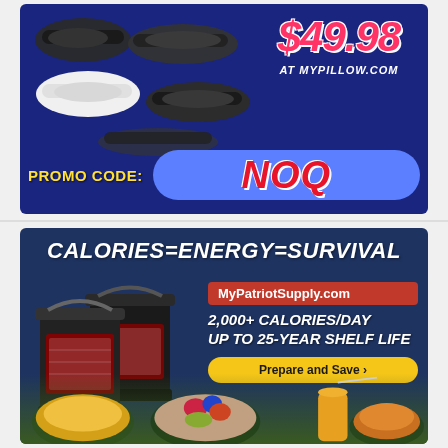[Figure (infographic): MyPillow sandal advertisement showing multiple sandals in black and white colors, with price $49.98, website AT MYPILLOW.COM, and promo code NOQ on a dark blue background]
[Figure (infographic): MyPatriotSupply food storage advertisement showing black buckets with emergency food, headline CALORIES=ENERGY=SURVIVAL, 2,000+ CALORIES/DAY, UP TO 25-YEAR SHELF LIFE, Prepare and Save button, with food bowl images at bottom]